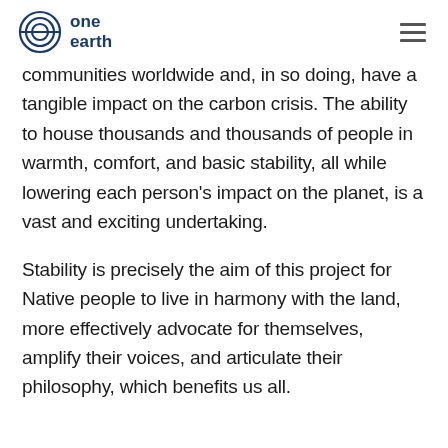one earth [logo]
communities worldwide and, in so doing, have a tangible impact on the carbon crisis. The ability to house thousands and thousands of people in warmth, comfort, and basic stability, all while lowering each person's impact on the planet, is a vast and exciting undertaking.
Stability is precisely the aim of this project for Native people to live in harmony with the land, more effectively advocate for themselves, amplify their voices, and articulate their philosophy, which benefits us all.